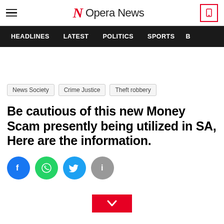Opera News
HEADLINES  LATEST  POLITICS  SPORTS  B
News Society  Crime Justice  Theft robbery
Be cautious of this new Money Scam presently being utilized in SA, Here are the information.
[Figure (infographic): Social share buttons: Facebook (blue circle), WhatsApp (green circle), Twitter (light blue circle), Info (grey circle)]
[Figure (infographic): Red rectangular button with a white chevron/down-arrow icon]